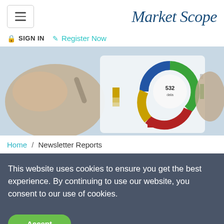Market Scope
SIGN IN  Register Now
[Figure (photo): Person pointing at a tablet screen showing a donut/ring chart with colored segments (blue, green, red, gold) and associated bar chart elements in the background.]
Home / Newsletter Reports
This website uses cookies to ensure you get the best experience. By continuing to use our website, you consent to our use of cookies.